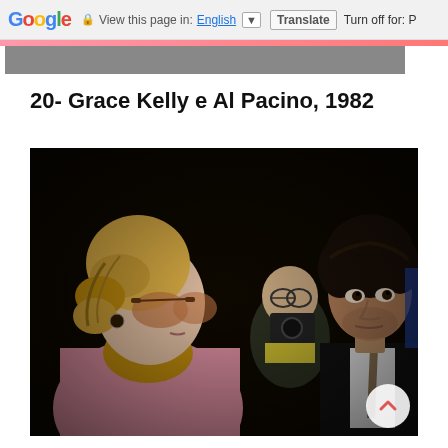Google  View this page in: English [▼]  Translate  Turn off for: P
20- Grace Kelly e Al Pacino, 1982
[Figure (photo): Black and white / color photograph of Grace Kelly (left, blonde braided hair, large tinted sunglasses, pink coat) and Al Pacino (right, dark suit and tie, looking at camera), 1982. A photographer with a camera is visible in the background.]